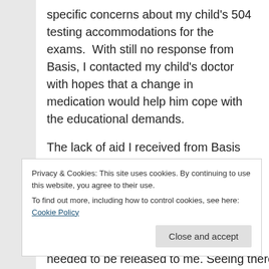specific concerns about my child's 504 testing accommodations for the exams.  With still no response from Basis, I contacted my child's doctor with hopes that a change in medication would help him cope with the educational demands.
The lack of aid I received from Basis over e-mail correspondence was only met with deficient assistance face-to-face. January 16th, I attempted to pick up my child from Basis for a cardiologist appointment, they refused to
Privacy & Cookies: This site uses cookies. By continuing to use this website, you agree to their use.
To find out more, including how to control cookies, see here: Cookie Policy
needed to be released to me. Seeing there was